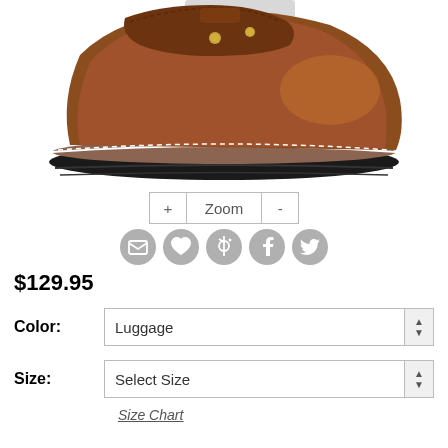[Figure (photo): Close-up product photo of a brown leather chukka boot with brass rivets, white stitching on the sole edge, and dark rubber lug sole, shown on a white background. A grey price tag is visible at the top.]
+ Zoom -
[Figure (infographic): Row of five circular social sharing icons: email (envelope), heart/wishlist, Pinterest, Facebook, Twitter — all in grey.]
$129.95
Color: Luggage
Size: Select Size
Size Chart